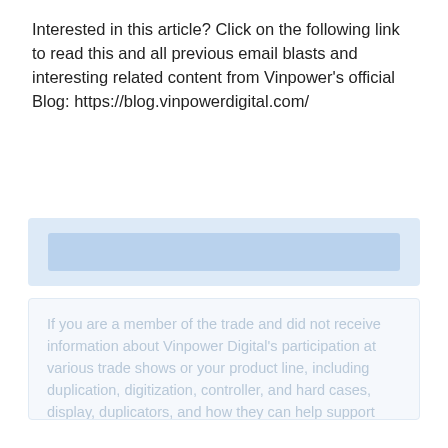Interested in this article? Click on the following link to read this and all previous email blasts and interesting related content from Vinpower's official Blog: https://blog.vinpowerdigital.com/
[Figure (other): Light blue banner/button element]
If you are a member of the trade and did not receive information about Vinpower Digital's participation at various trade shows or our product line, including duplication, digitization, controller, and hard cases, display, duplicators, and how they can help support Enhance & Improve Your Operations, please contact us at http://www.sopink.us